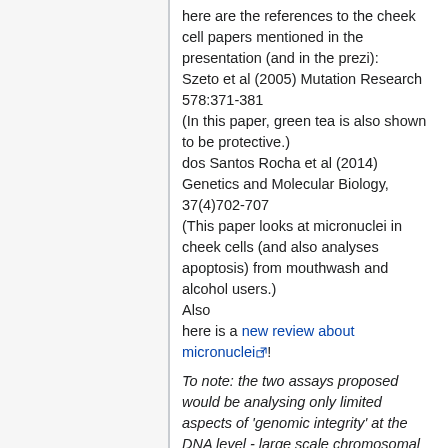here are the references to the cheek cell papers mentioned in the presentation (and in the prezi): Szeto et al (2005) Mutation Research 578:371-381 (In this paper, green tea is also shown to be protective.) dos Santos Rocha et al (2014) Genetics and Molecular Biology, 37(4)702-707 (This paper looks at micronuclei in cheek cells (and also analyses apoptosis) from mouthwash and alcohol users.) Also here is a new review about micronuclei!
To note: the two assays proposed would be analysing only limited aspects of 'genomic integrity' at the DNA level - large scale chromosomal disruption in the micronuclei assay and double-